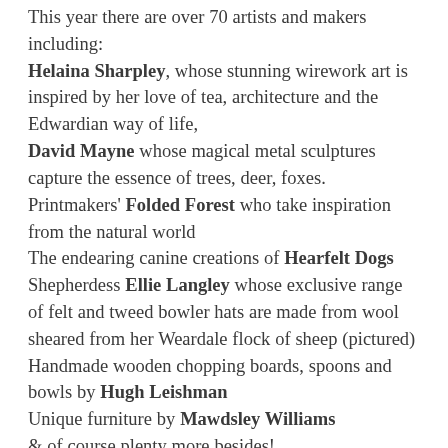This year there are over 70 artists and makers including: Helaina Sharpley, whose stunning wirework art is inspired by her love of tea, architecture and the Edwardian way of life, David Mayne whose magical metal sculptures capture the essence of trees, deer, foxes. Printmakers' Folded Forest who take inspiration from the natural world The endearing canine creations of Hearfelt Dogs Shepherdess Ellie Langley whose exclusive range of felt and tweed bowler hats are made from wool sheared from her Weardale flock of sheep (pictured) Handmade wooden chopping boards, spoons and bowls by Hugh Leishman Unique furniture by Mawdsley Williams & of course plenty more besides!